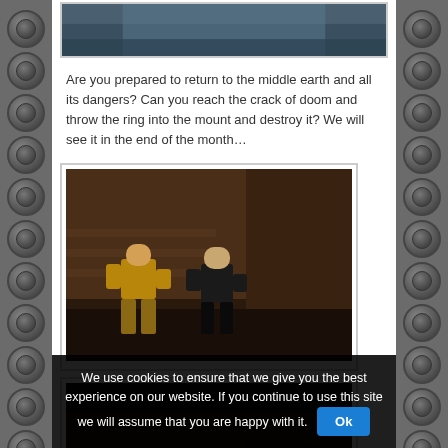[Figure (screenshot): Top portion of a game screenshot showing a bluish/dark scene, cropped at top of page]
Are you prepared to return to the middle earth and all its dangers? Can you reach the crack of doom and throw the ring into the mount and destroy it? We will see it in the end of the month…
[Figure (screenshot): LEGO Lord of the Rings game screenshot showing cartoon LEGO characters in a dark medieval environment]
[Figure (screenshot): LEGO Lord of the Rings game screenshot showing a dark cave-like scene, partially visible]
We use cookies to ensure that we give you the best experience on our website. If you continue to use this site we will assume that you are happy with it.